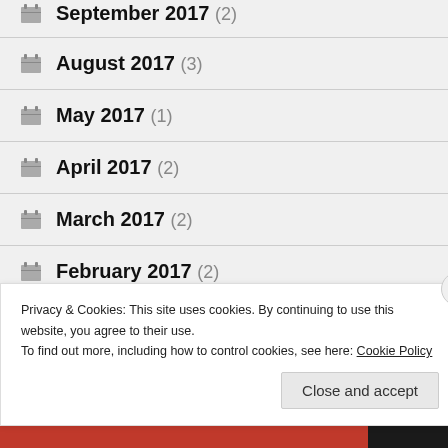September 2017 (2)
August 2017 (3)
May 2017 (1)
April 2017 (2)
March 2017 (2)
February 2017 (2)
December 2016 (1)
November 2016 (2)
Privacy & Cookies: This site uses cookies. By continuing to use this website, you agree to their use. To find out more, including how to control cookies, see here: Cookie Policy
Close and accept